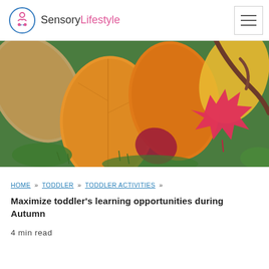SensoryLifestyle
[Figure (photo): Autumn leaves — orange, yellow, and a bright pink maple leaf — arranged on green grass, viewed from above.]
HOME » TODDLER » TODDLER ACTIVITIES »
Maximize toddler's learning opportunities during Autumn
4 min read